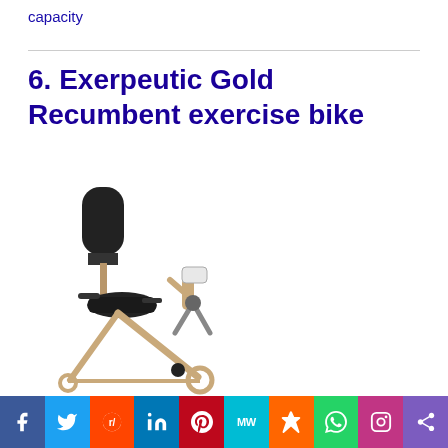capacity
6. Exerpeutic Gold Recumbent exercise bike
[Figure (photo): Exerpeutic Gold Recumbent exercise bike shown at an angle, with black seat and backrest, gold/tan frame, and pedals visible]
Social share bar with Facebook, Twitter, Reddit, LinkedIn, Pinterest, MeWe, Mix, WhatsApp, Instagram, Share icons